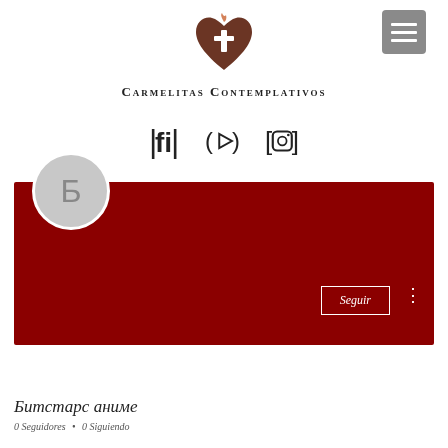[Figure (logo): Carmelitas Contemplativos logo: a heart shape with a cross and flame, in brown/dark red color]
Carmelitas Contemplativos
[Figure (infographic): Three social media icons in a row: Facebook, YouTube/video play button, Instagram camera icon]
[Figure (photo): Dark red/maroon profile banner with Seguir (Follow) button and three-dot menu. Below: circular avatar with Cyrillic letter Б]
Битстарс аниме
0 Seguidores • 0 Siguiendo